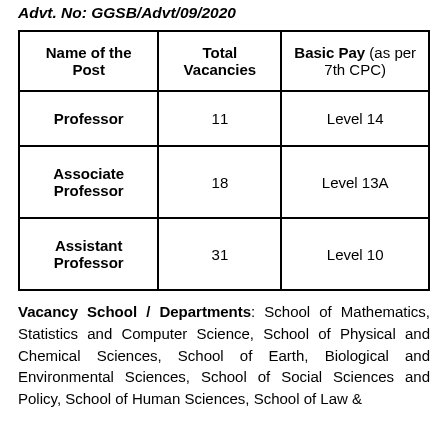Advt. No: GGSB/Advt/09/2020
| Name of the Post | Total Vacancies | Basic Pay (as per 7th CPC) |
| --- | --- | --- |
| Professor | 11 | Level 14 |
| Associate Professor | 18 | Level 13A |
| Assistant Professor | 31 | Level 10 |
Vacancy School / Departments: School of Mathematics, Statistics and Computer Science, School of Physical and Chemical Sciences, School of Earth, Biological and Environmental Sciences, School of Social Sciences and Policy, School of Human Sciences, School of Law &